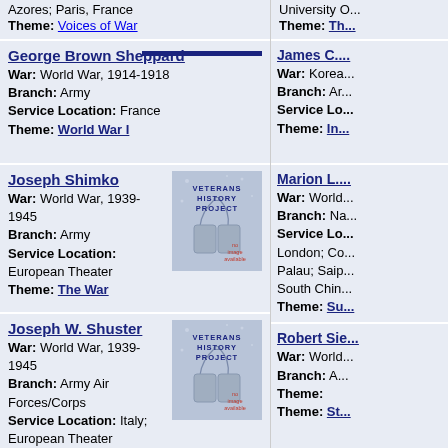Azores; Paris, France
Theme: Voices of War
University O...
Theme: Th...
George Brown Sheppard
War: World War, 1914-1918
Branch: Army
Service Location: France
Theme: World War I
James C....
War: Korea...
Branch: Ar...
Service Lo...
Theme: In...
Joseph Shimko
War: World War, 1939-1945
Branch: Army
Service Location: European Theater
Theme: The War
Marion L....
War: World...
Branch: Na...
Service Lo...
London; Co...
Palau; Saip...
South China...
Theme: Su...
Joseph W. Shuster
War: World War, 1939-1945
Branch: Army Air Forces/Corps
Service Location: Italy; European Theater
Theme: Wings of War
Robert Sie...
War: World...
Branch: A...
Theme:
Theme: St...
Julius J. Siefring
War: World War, 1939-1945
Branch: Army
Service Location: Camp Atterbury, Indiana; Camp Wolters, Texas (basic training); Pearl Harbor, Hawaii; New Guinea; Luzon, Mindanao Island, Mindoro and Leyte Island (Philippines)
Vincent S...
War: Vietna...
Branch: Ar...
Service Lo...
Louisiana; C...
Theme: